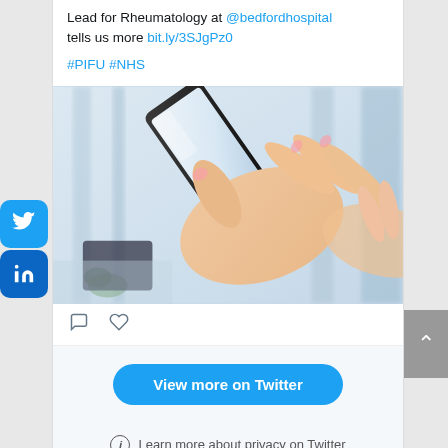Lead for Rheumatology at @bedfordhospital tells us more bit.ly/3SJgPz0
#PIFU #NHS
[Figure (photo): Hands holding and using a smartphone, close-up photo with blurred office background]
View more on Twitter
ⓘ Learn more about privacy on Twitter